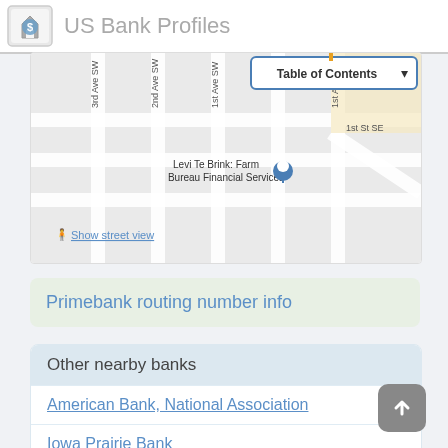US Bank Profiles
[Figure (map): Street map showing location of Levi Te Brink: Farm Bureau Financial Services, with streets labeled 3rd Ave SW, 2nd Ave SW, 1st Ave SW, 1st St SE, 1st Ave SE. A Table of Contents dropdown button is shown in the top right. A 'Show street view' link with pedestrian icon appears at the bottom.]
Primebank routing number info
Other nearby banks
American Bank, National Association
Iowa Prairie Bank